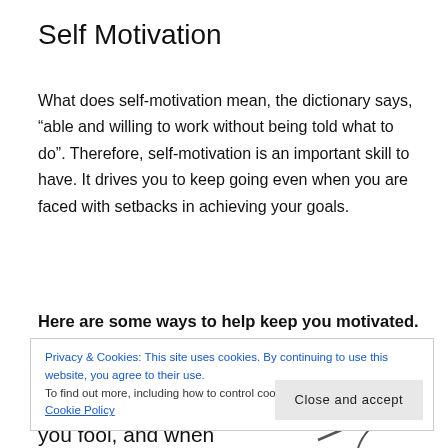Self Motivation
What does self-motivation mean, the dictionary says, “able and willing to work without being told what to do”. Therefore, self-motivation is an important skill to have. It drives you to keep going even when you are faced with setbacks in achieving your goals.
Here are some ways to help keep you motivated.
Privacy & Cookies: This site uses cookies. By continuing to use this website, you agree to their use.
To find out more, including how to control cookies, see here: Privacy and Cookie Policy
you fool, and when